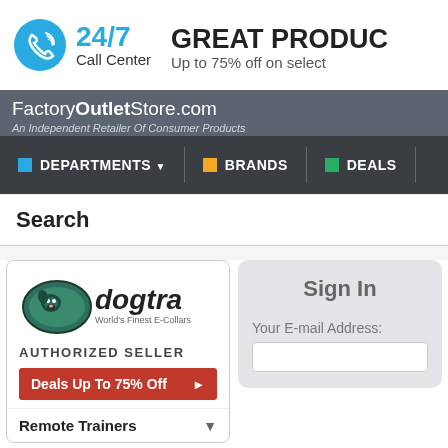[Figure (infographic): Phone icon circle with 24/7 Call Center text]
24/7 Call Center
GREAT PRODUCTS — Up to 75% off on select
FactoryOutletStore.com — An Independent Retailer Of Consumer Products
DEPARTMENTS ▼  |  BRANDS  |  DEALS
Search
[Figure (logo): Dogtra World's Finest E-Collars logo with AUTHORIZED SELLER text]
Deals Up To 75% Off
Remote Trainers
Sign In
Your E-mail Address: